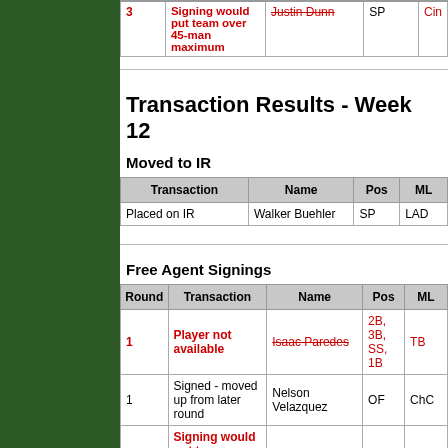| Round | Transaction | Name | Pos | MLB Team |
| --- | --- | --- | --- | --- |
| 3 | Signing would put team over 45-man maximum | Justin Dunn | SP | Cin |
Transaction Results - Week 12
Moved to IR
| Transaction | Name | Pos | MLB Team |
| --- | --- | --- | --- |
| Placed on IR | Walker Buehler | SP | LAD |
Free Agent Signings
| Round | Transaction | Name | Pos | MLB Team |
| --- | --- | --- | --- | --- |
| 1 | Player not available | Isaac Paredes | 2B, 3B, SS, 1B | TB |
| 1 | Signed - moved up from later round | Nelson Velazquez | OF | ChC |
| 2 | Signing would put team over 45-man maximum | Dylan Lee | RP | Atl |
| 3 | Signing would put team over 45-man maximum | Ron Marinaccio | RP | NYY |
Transaction Results - Week 11